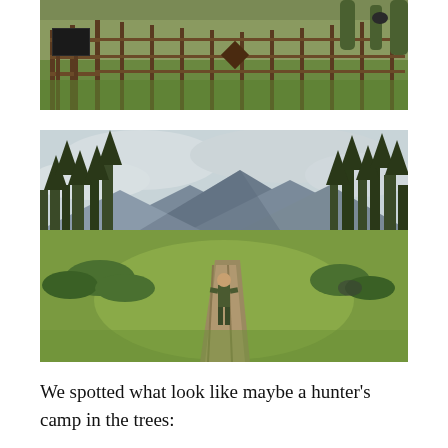[Figure (photo): Outdoor scene showing a fenced area with wooden rail fences, an informational sign board on posts, a green grassy meadow, and trees in the background. A dark animal (possibly a bear) is visible in the far background.]
[Figure (photo): A person standing in a green meadow clearing surrounded by tall pine trees with a mountain visible in the background under a cloudy sky. A dirt path leads through the meadow.]
We spotted what look like maybe a hunter's camp in the trees: